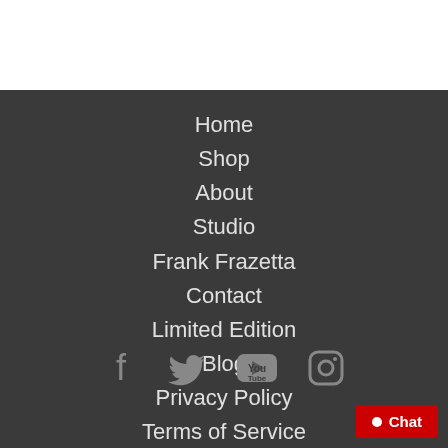Home
Shop
About
Studio
Frank Frazetta
Contact
Limited Edition
Blog
Privacy Policy
Terms of Service
[Figure (illustration): Social media icons: Facebook, Twitter, YouTube, Instagram]
Chat